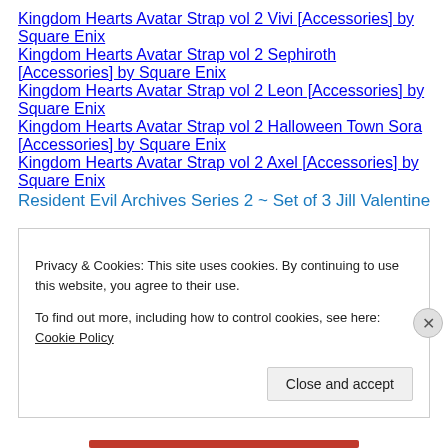Kingdom Hearts Avatar Strap vol 2 Vivi [Accessories] by Square Enix
Kingdom Hearts Avatar Strap vol 2 Sephiroth [Accessories] by Square Enix
Kingdom Hearts Avatar Strap vol 2 Leon [Accessories] by Square Enix
Kingdom Hearts Avatar Strap vol 2 Halloween Town Sora [Accessories] by Square Enix
Kingdom Hearts Avatar Strap vol 2 Axel [Accessories] by Square Enix
Resident Evil Archives Series 2 ~ Set of 3 Jill Valentine
Privacy & Cookies: This site uses cookies. By continuing to use this website, you agree to their use.
To find out more, including how to control cookies, see here: Cookie Policy
Close and accept